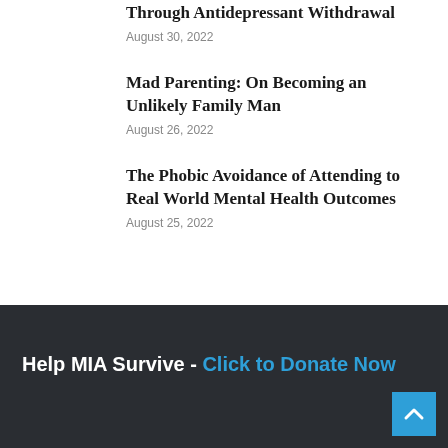Behavior Therapy Helped My Parents Through Antidepressant Withdrawal
August 30, 2022
Mad Parenting: On Becoming an Unlikely Family Man
August 26, 2022
The Phobic Avoidance of Attending to Real World Mental Health Outcomes
August 25, 2022
Help MIA Survive - Click to Donate Now